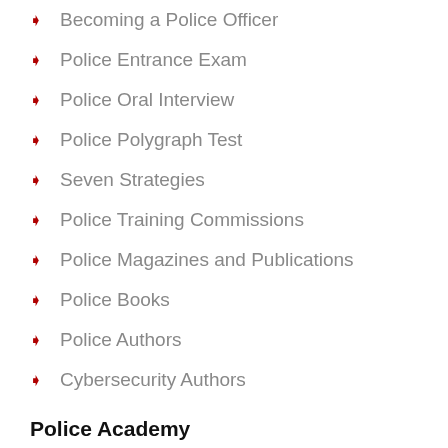Becoming a Police Officer
Police Entrance Exam
Police Oral Interview
Police Polygraph Test
Seven Strategies
Police Training Commissions
Police Magazines and Publications
Police Books
Police Authors
Cybersecurity Authors
Police Academy
Police Academy
New Police Officer
Police In-Service Training
Police Rank Insignias
Police Uniform
Police Rank Structure
Police Chain of Command
Police Foot Patrol
Police Body Cam...